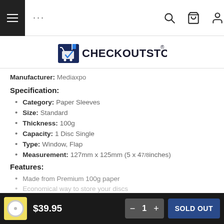Navigation bar with menu, search, cart, and account icons
[Figure (logo): CheckOutStore logo with shopping cart icon and registered trademark symbol]
Manufacturer: Mediaxpo
Specification:
Category: Paper Sleeves
Size: Standard
Thickness: 100g
Capacity: 1 Disc Single
Type: Window, Flap
Measurement: 127mm x 125mm (5 x 4 7/8 inches)
Features:
Made from Premium 100g paper
Economical way to store your discs
$39.95  −  1  +  SOLD OUT